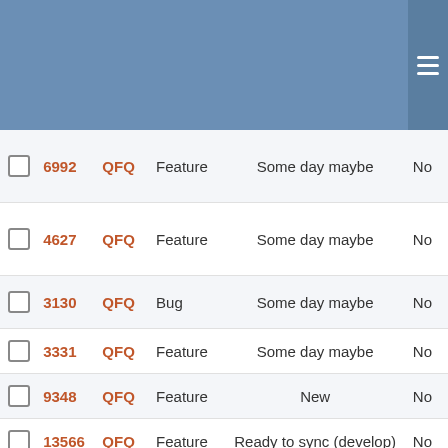|  | ID | Project | Type | Status |  |
| --- | --- | --- | --- | --- | --- |
| ☐ | 6992 | QFQ | Feature | Some day maybe | No |
| ☐ | 4627 | QFQ | Feature | Some day maybe | No |
| ☐ | 3130 | QFQ | Bug | Some day maybe | No |
| ☐ | 3331 | QFQ | Feature | Some day maybe | No |
| ☐ | 9348 | QFQ | Feature | New | No |
| ☐ | 13566 | QFQ | Feature | Ready to sync (develop) | No |
| ☐ | 5850 | QFQ | Feature | Some day maybe | No |